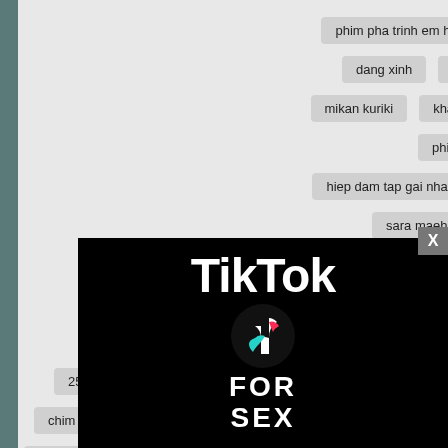phim pha trinh em hoc sinh hang xom
phim sex mat xa lon tai nha
dang xinh
sex choi em ho tren sofa
jav rola takizawa
mikan kuriki
khat vong khong choi tu
chich 5 co em ho xinh dep
phim sex chuyen da ngoai sung suong
hiep dam tap gai nhat xinh dep dang ngon
dit co ban gai cuc goi cam
sara maehara
nu diep vien xinh dep bi hiep dam
vietsub bi ba chu bao dam tai nha
vo dam thich nhin chong dit nguoi phu nu khac
gameshow sex me con vietsub
2538 ph...
chim nho d...
akiho yoshizawa
[Figure (photo): Older blonde woman smiling, photo overlay on page]
[Figure (advertisement): TikTok For Sex advertisement banner, black background with TikTok logo and text]